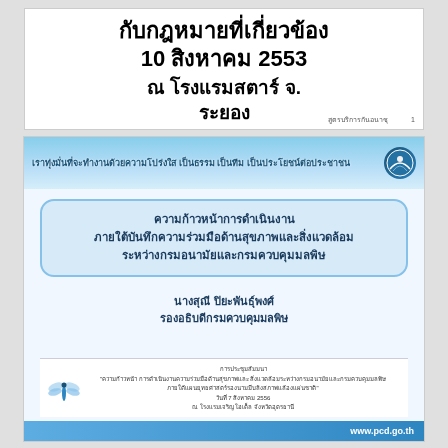กับกฎหมายที่เกี่ยวข้อง
10 สิงหาคม 2553
ณ โรงแรมสตาร์ จ.
ระยอง
สูตรบริการกัน... 1
[Figure (illustration): Header banner with sky/clouds background and Thai government text: เราทุ่งมั่นที่จะทำงานด้วยความโปร่งใส เป็นธรรม เป็นทีม เป็นประโยชน์ต่อประชาชน, with circular logo on right]
ความก้าวหน้าการดำเนินงาน
ภายใต้บันทึกความร่วมมือด้านสุขภาพและสิ่งแวดล้อม
ระหว่างกรมอนามัยและกรมควบคุมมลพิษ
นางสุณี ปิยะพันธุ์พงศ์
รองอธิบดีกรมควบคุมมลพิษ
การประชุมสัมมนา
"ความก้าวหน้า การดำเนินงานความร่วมมือด้านสุขภาพและ สิ่งแวดล้อมระหว่างกรมอนามัยและกรมควบคุมมลพิษ
ภายใต้แผนยุทธศาสตร์รองนามมีบลิงสภาพแล้องแผ่นชาติ"
วันที่ 7 สิงหาคม 2556
ณ โรงแรมเจริญ โฮเต็ล จังหวัดอุดรธานี
www.pcd.go.th